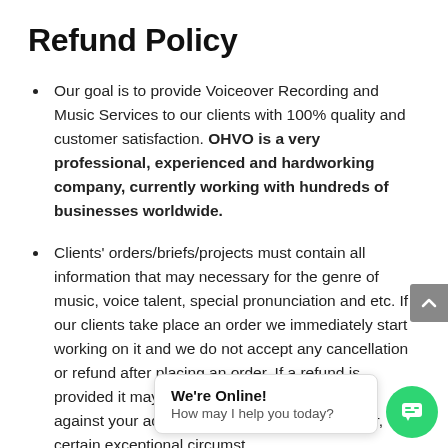Refund Policy
Our goal is to provide Voiceover Recording and Music Services to our clients with 100% quality and customer satisfaction. OHVO is a very professional, experienced and hardworking company, currently working with hundreds of businesses worldwide.
Clients' orders/briefs/projects must contain all information that may necessary for the genre of music, voice talent, special pronunciation and etc. If our clients take place an order we immediately start working on it and we do not accept any cancellation or refund after placing an order. If a refund is provided it may be in the way of a Credit Note against your account for future spend. However, certain exceptional circumstances may lead to cancelling our production work. We reserve the right to request a refund from our Clients fo...